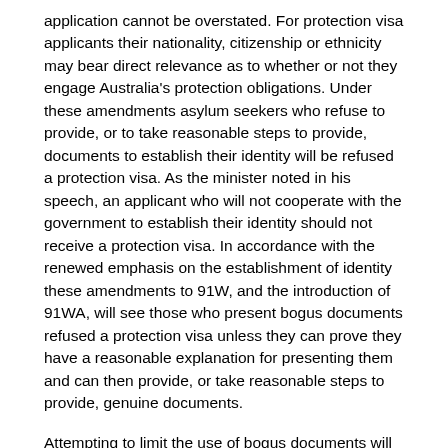application cannot be overstated. For protection visa applicants their nationality, citizenship or ethnicity may bear direct relevance as to whether or not they engage Australia's protection obligations. Under these amendments asylum seekers who refuse to provide, or to take reasonable steps to provide, documents to establish their identity will be refused a protection visa. As the minister noted in his speech, an applicant who will not cooperate with the government to establish their identity should not receive a protection visa. In accordance with the renewed emphasis on the establishment of identity these amendments to 91W, and the introduction of 91WA, will see those who present bogus documents refused a protection visa unless they can prove they have a reasonable explanation for presenting them and can then provide, or take reasonable steps to provide, genuine documents.
Attempting to limit the use of bogus documents will continue to increase the integrity of the immigration process and limit the profitability of a trade which, like people smuggling, is the work of criminals who prey on vulnerable people. Similarly, those who destroy or dispose of their documents prior to arrival in Australia who do not have a reasonable explanation for doing so, and who do not take steps to establish their genuine identity, will be refused a protection visa.
I believe the Australian public deserves to be able to take comfort in the knowledge the government knows the true identity of all those wishing to